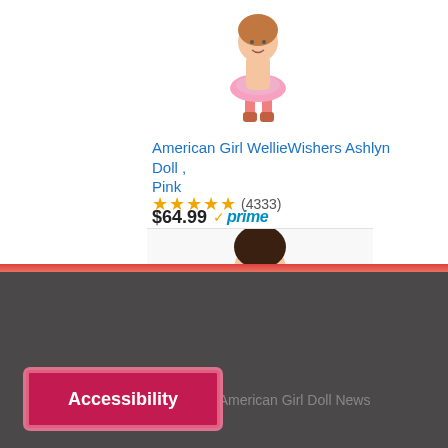[Figure (photo): Partial view of a pink doll (American Girl WellieWishers Ashlyn) wearing a pink tutu and pink boots, cropped at the top]
American Girl WellieWishers Ashlyn Doll , Pink
$64.99 ✓prime
★★★★★ (4333)
[Figure (photo): Partial view of another doll's head with dark hair, peeking from bottom of product card]
22 American Girl Doll News
Accessibility